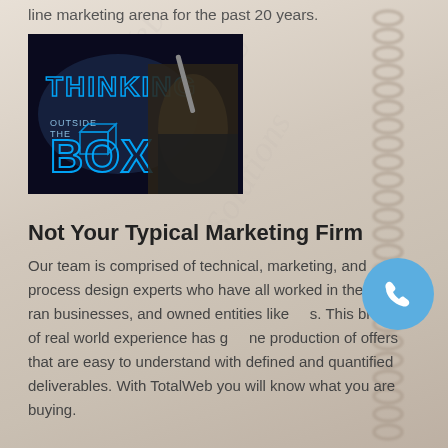line marketing arena for the past 20 years.
[Figure (photo): Dark background image with glowing blue neon text reading 'THINKING OUTSIDE THE BOX' with a hand holding a pen or stylus. The text is styled in bold neon blue light.]
Not Your Typical Marketing Firm
Our team is comprised of technical, marketing, and process design experts who have all worked in the field, ran businesses, and owned entities like s. This breadth of real world experience has g ne production of offers that are easy to understand with defined and quantified deliverables. With TotalWeb you will know what you are buying.